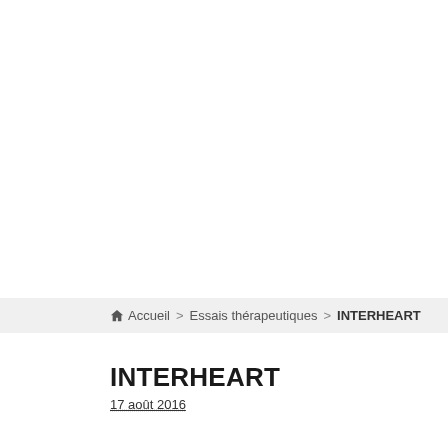🏠 Accueil > Essais thérapeutiques > INTERHEART
INTERHEART
17 août 2016